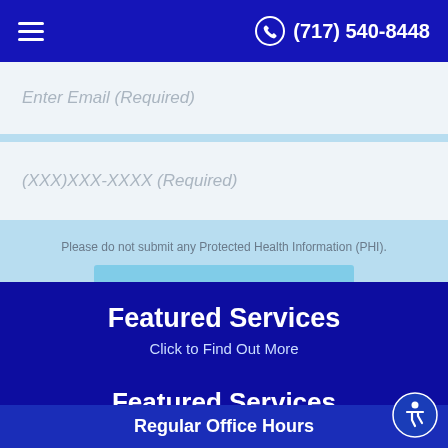(717) 540-8448
Enter Email (Required)
(XXX)XXX-XXXX (Required)
Please do not submit any Protected Health Information (PHI).
Submit
Featured Services
Click to Find Out More
Regular Office Hours